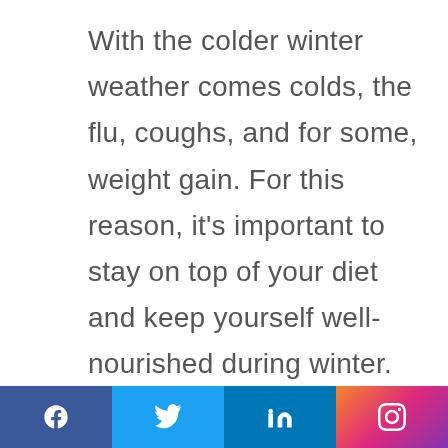With the colder winter weather comes colds, the flu, coughs, and for some, weight gain. For this reason, it's important to stay on top of your diet and keep yourself well-nourished during winter. Sticking to healthy eating this winter won't necessarily prevent you from picking up illnesses, but it can help maintain your immune system to protect you. Also, should you fall ill, a nutritious diet can help speed up
[Figure (infographic): Social media share bar with Facebook, Twitter, LinkedIn, and Instagram icons]